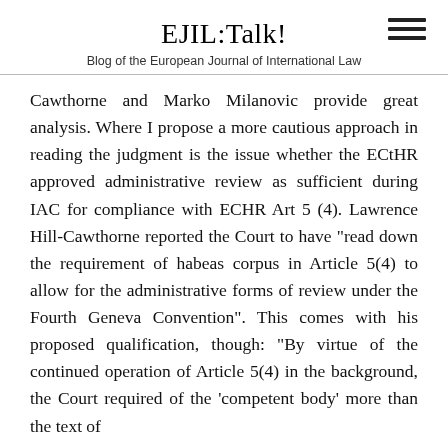EJIL:Talk!
Blog of the European Journal of International Law
Cawthorne and Marko Milanovic provide great analysis. Where I propose a more cautious approach in reading the judgment is the issue whether the ECtHR approved administrative review as sufficient during IAC for compliance with ECHR Art 5 (4). Lawrence Hill-Cawthorne reported the Court to have "read down the requirement of habeas corpus in Article 5(4) to allow for the administrative forms of review under the Fourth Geneva Convention". This comes with his proposed qualification, though: "By virtue of the continued operation of Article 5(4) in the background, the Court required of the 'competent body' more than the text of